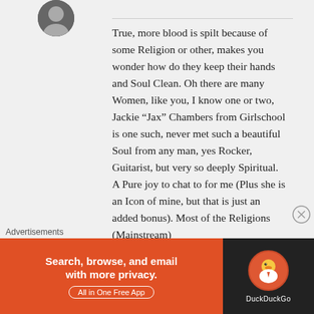[Figure (photo): Circular avatar profile photo of a person, partially visible at top left]
True, more blood is spilt because of some Religion or other, makes you wonder how do they keep their hands and Soul Clean. Oh there are many Women, like you, I know one or two, Jackie “Jax” Chambers from Girlschool is one such, never met such a beautiful Soul from any man, yes Rocker, Guitarist, but very so deeply Spiritual. A Pure joy to chat to for me (Plus she is an Icon of mine, but that is just an added bonus). Most of the Religions (Mainstream)
Advertisements
[Figure (screenshot): DuckDuckGo advertisement banner reading 'Search, browse, and email with more privacy. All in One Free App' with DuckDuckGo logo on dark background]